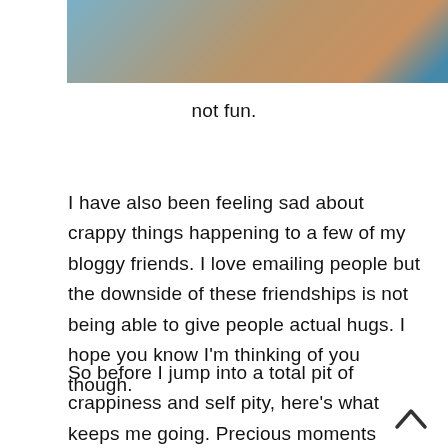[Figure (photo): Partial close-up photo of a person's face/head, cropped at the top of the page]
not fun.
I have also been feeling sad about crappy things happening to a few of my bloggy friends. I love emailing people but the downside of these friendships is not being able to give people actual hugs. I hope you know I'm thinking of you though.
So before I jump into a total pit of crappiness and self pity, here's what keeps me going. Precious moments and my gorgeous kids: